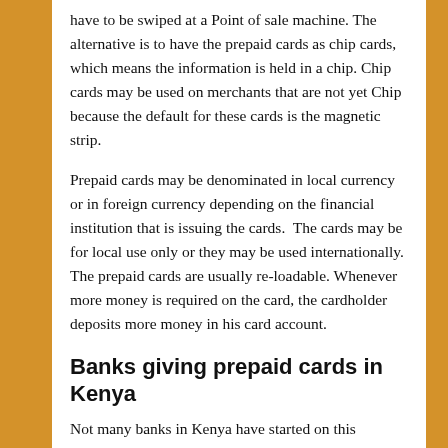have to be swiped at a Point of sale machine. The alternative is to have the prepaid cards as chip cards, which means the information is held in a chip. Chip cards may be used on merchants that are not yet Chip because the default for these cards is the magnetic strip.
Prepaid cards may be denominated in local currency or in foreign currency depending on the financial institution that is issuing the cards.  The cards may be for local use only or they may be used internationally. The prepaid cards are usually re-loadable. Whenever more money is required on the card, the cardholder deposits more money in his card account.
Banks giving prepaid cards in Kenya
Not many banks in Kenya have started on this business line yet. There are three banks who currently give this service. The banks are Kenya commercial bank, Investment and